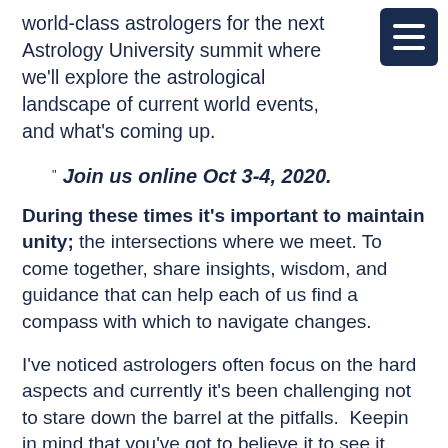world-class astrologers for the next Astrology University summit where we'll explore the astrological landscape of current world events, and what's coming up.
[Figure (other): Hamburger menu button icon — dark navy square with three white horizontal lines]
" Join us online Oct 3-4, 2020.
During these times it's important to maintain unity; the intersections where we meet. To come together, share insights, wisdom, and guidance that can help each of us find a compass with which to navigate changes.
I've noticed astrologers often focus on the hard aspects and currently it's been challenging not to stare down the barrel at the pitfalls.  Keepin in mind that you've got to believe it to see it, we're here to